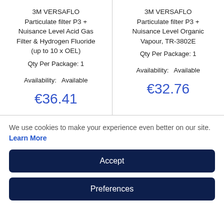3M VERSAFLO Particulate filter P3 + Nuisance Level Acid Gas Filter & Hydrogen Fluoride (up to 10 x OEL)
Qty Per Package: 1
Availability: Available
€36.41
3M VERSAFLO Particulate filter P3 + Nuisance Level Organic Vapour, TR-3802E
Qty Per Package: 1
Availability: Available
€32.76
We use cookies to make your experience even better on our site. Learn More
Accept
Preferences